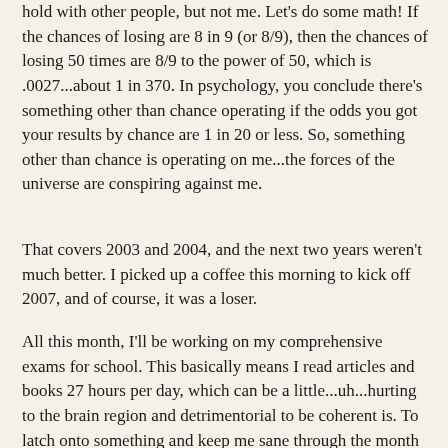hold with other people, but not me. Let's do some math! If the chances of losing are 8 in 9 (or 8/9), then the chances of losing 50 times are 8/9 to the power of 50, which is .0027...about 1 in 370. In psychology, you conclude there's something other than chance operating if the odds you got your results by chance are 1 in 20 or less. So, something other than chance is operating on me...the forces of the universe are conspiring against me.
That covers 2003 and 2004, and the next two years weren't much better. I picked up a coffee this morning to kick off 2007, and of course, it was a loser.
All this month, I'll be working on my comprehensive exams for school. This basically means I read articles and books 27 hours per day, which can be a little...uh...hurting to the brain region and detrimentorial to be coherent is. To latch onto something and keep me sane through the month of March , I think I'll keep track of all my winning and losing cups. I'll even graph it and perform